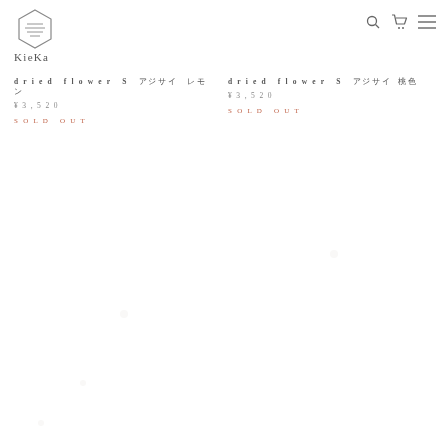KieKa
dried flower S　アジサイ　レモン　¥3,520　SOLD OUT
dried flower S　アジサイ　桃色　¥3,520　SOLD OUT